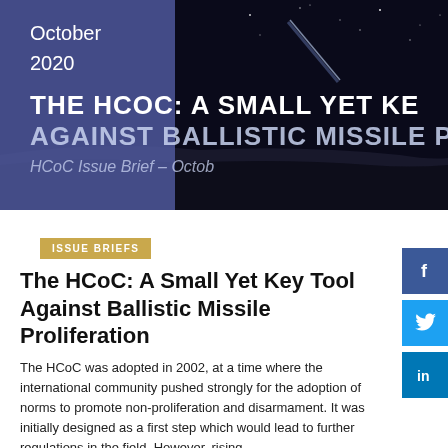[Figure (photo): Dark night sky background with missile/rocket trail visible. Left portion has a blue-purple overlay panel showing 'October 2020'. Large white text overlaid reads 'The HCoC: A Small Yet Ke... Against Ballistic Missile Prolife... HCoC Issue Brief – Octob...']
ISSUE BRIEFS
The HCoC: A Small Yet Key Tool Against Ballistic Missile Proliferation
The HCoC was adopted in 2002, at a time where the international community pushed strongly for the adoption of norms to promote non-proliferation and disarmament. It was initially designed as a first step which would lead to further regulations in the field. However, rising